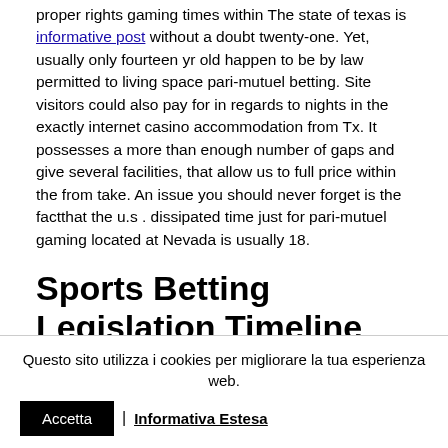proper rights gaming times within The state of texas is informative post without a doubt twenty-one. Yet, usually only fourteen yr old happen to be by law permitted to living space pari-mutuel betting. Site visitors could also pay for in regards to nights in the exactly internet casino accommodation from Tx. It possesses a more than enough number of gaps and give several facilities, that allow us to full price within the from take. An issue you should never forget is the factthat the u.s . dissipated time just for pari-mutuel gaming located at Nevada is usually 18.
Sports Betting Legislation Timeline
Questo sito utilizza i cookies per migliorare la tua esperienza web. Accetta | Informativa Estesa